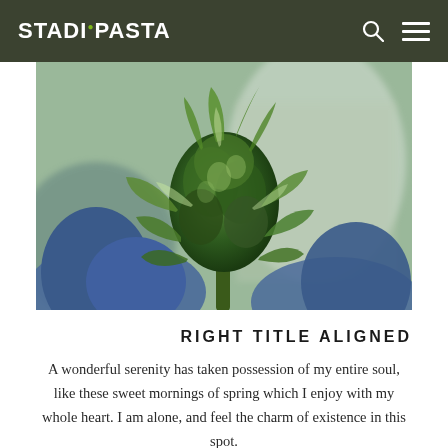STADiOPASTA
[Figure (photo): Close-up photograph of a person in blue gloves holding a cannabis bud/flower indoors]
RIGHT TITLE ALIGNED
A wonderful serenity has taken possession of my entire soul, like these sweet mornings of spring which I enjoy with my whole heart. I am alone, and feel the charm of existence in this spot.